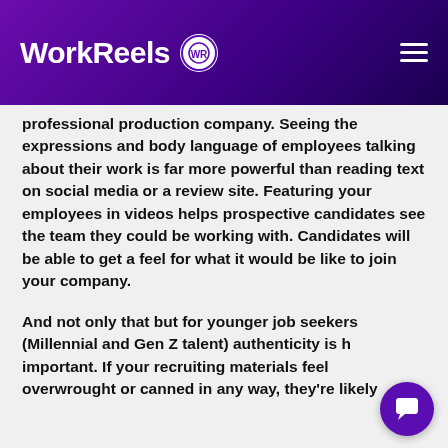WorkReels
professional production company. Seeing the expressions and body language of employees talking about their work is far more powerful than reading text on social media or a review site. Featuring your employees in videos helps prospective candidates see the team they could be working with. Candidates will be able to get a feel for what it would be like to join your company.
And not only that but for younger job seekers (Millennial and Gen Z talent) authenticity is h important. If your recruiting materials feel overwrought or canned in any way, they're likely